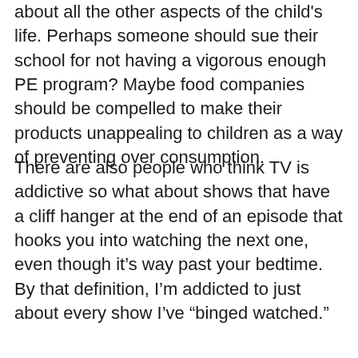about all the other aspects of the child's life. Perhaps someone should sue their school for not having a vigorous enough PE program? Maybe food companies should be compelled to make their products unappealing to children as a way of preventing over consumption.
There are also people who think TV is addictive so what about shows that have a cliff hanger at the end of an episode that hooks you into watching the next one, even though it's way past your bedtime. By that definition, I'm addicted to just about every show I've “binged watched.”
I don’t mean to trivialize a serious problem. My non-profit, ConnectSafley.org, has devoted a great deal of resources to helping families deal with problematic internet use but both the problem and the solution is